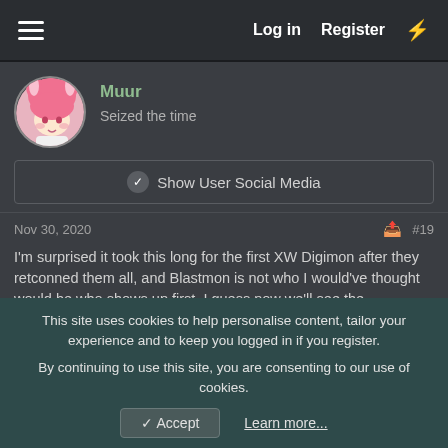Log in  Register
[Figure (illustration): Anime-style avatar with pink hair, circular cropped]
Muur   Seized the time
Show User Social Media
Nov 30, 2020   #19
I'm surprised it took this long for the first XW Digimon after they retconned them all, and Blastmon is not who I would've thought would be who shows up first. I guess now we'll see the floodgates open.

I guess the Cerberusmons are for Plutomon. Hopefully Dobermon come with them as well. Would've been good time for an Aoi card from Survive but eh. I guess it's better to wait for the game to actually
This site uses cookies to help personalise content, tailor your experience and to keep you logged in if you register.
By continuing to use this site, you are consenting to our use of cookies.
✓ Accept   Learn more...